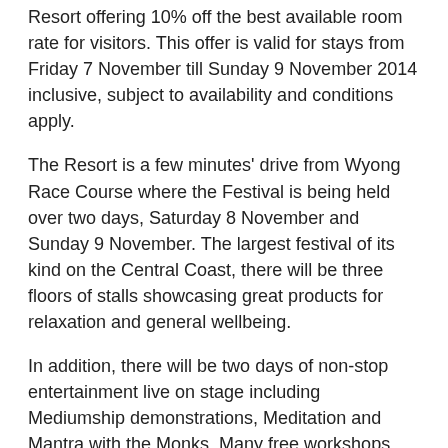Resort offering 10% off the best available room rate for visitors. This offer is valid for stays from Friday 7 November till Sunday 9 November 2014 inclusive, subject to availability and conditions apply.
The Resort is a few minutes' drive from Wyong Race Course where the Festival is being held over two days, Saturday 8 November and Sunday 9 November. The largest festival of its kind on the Central Coast, there will be three floors of stalls showcasing great products for relaxation and general wellbeing.
In addition, there will be two days of non-stop entertainment live on stage including Mediumship demonstrations, Meditation and Mantra with the Monks. Many free workshops and talks will also be available, including Healing Families through Play, Palmistry and Mandalas Workshop.
Mercure Kooindah Waters Resort is a 4.5 star resort located just 90 minutes north of Sydney and 60 minutes south of Newcastle with 83 accommodation rooms comprising of Standard King Rooms, 1, 2 and 3 bedrooms self-contained